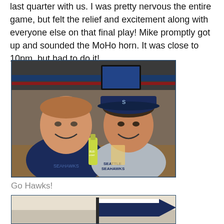last quarter with us. I was pretty nervous the entire game, but felt the relief and excitement along with everyone else on that final play! Mike promptly got up and sounded the MoHo horn. It was close to 10pm, but had to do it!
[Figure (photo): Two people smiling at a bar/restaurant, both wearing Seattle Seahawks gear. The man on the left wears a navy Seahawks shirt; the woman on the right wears a Seahawks hat and a grey Seattle Seahawks shirt and holds a beer bottle.]
Go Hawks!
[Figure (photo): Partial photo showing what appears to be a banner or flag with a blue and white design against a light sky background.]